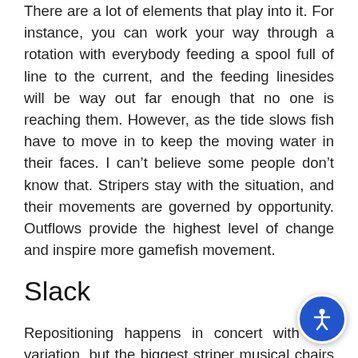There are a lot of elements that play into it. For instance, you can work your way through a rotation with everybody feeding a spool full of line to the current, and the feeding linesides will be way out far enough that no one is reaching them. However, as the tide slows fish have to move in to keep the moving water in their faces. I can't believe some people don't know that. Stripers stay with the situation, and their movements are governed by opportunity. Outflows provide the highest level of change and inspire more gamefish movement.
Slack
Repositioning happens in concert with tide variation, but the biggest striper musical chairs goes off when they cannot find their precious current; they need that. Back when we were